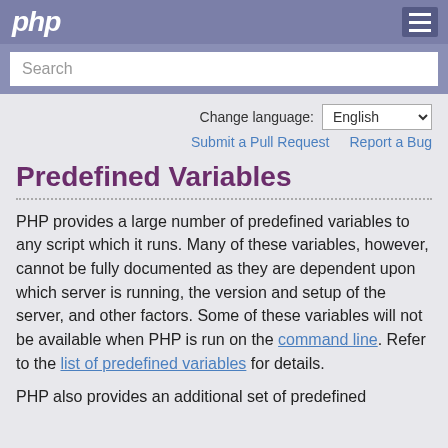php
Search
Change language: English
Submit a Pull Request   Report a Bug
Predefined Variables
PHP provides a large number of predefined variables to any script which it runs. Many of these variables, however, cannot be fully documented as they are dependent upon which server is running, the version and setup of the server, and other factors. Some of these variables will not be available when PHP is run on the command line. Refer to the list of predefined variables for details.
PHP also provides an additional set of predefined